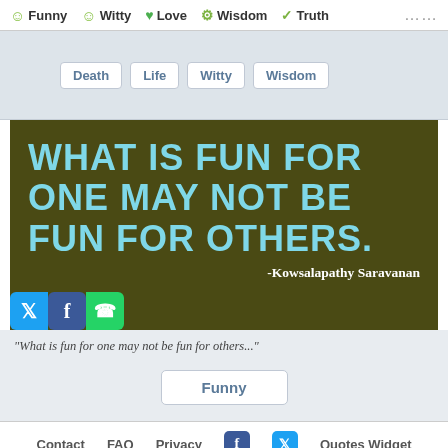Funny  Witty  Love  Wisdom  Truth
Death  Life  Witty  Wisdom
[Figure (photo): Quote image with dark olive background and large cyan text: WHAT IS FUN FOR ONE MAY NOT BE FUN FOR OTHERS. Attribution: -Kowsalapathy Saravanan. Social share icons (Twitter, Facebook, WhatsApp) in bottom left.]
“What is fun for one may not be fun for others...”
Funny
Contact  FAQ  Privacy  Quotes Widget